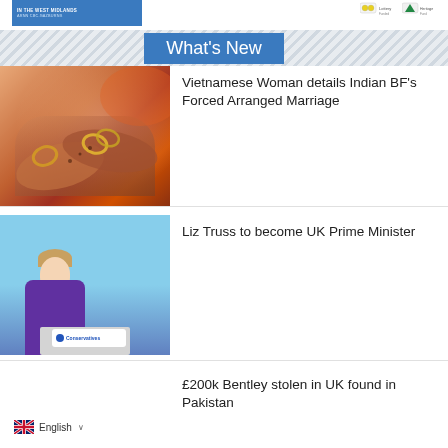IN THE WEST MIDLANDS | ARNN CBC.GAZBURNS
What's New
[Figure (photo): Close-up photo of hands with henna/mehndi decoration and gold jewelry, warm orange/red tones]
Vietnamese Woman details Indian BF's Forced Arranged Marriage
[Figure (photo): Photo of Liz Truss standing at a podium with Conservative party logo, blue background]
Liz Truss to become UK Prime Minister
£200k Bentley stolen in UK found in Pakistan
English